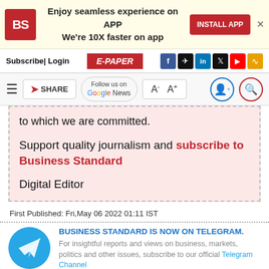[Figure (screenshot): Business Standard app install ad banner with BS logo, text 'Enjoy seamless experience on APP We're 10X faster on app', INSTALL APP button, and close X]
Subscribe| Login   E-PAPER   [social icons]
[Figure (screenshot): Toolbar with hamburger menu, SHARE button, Follow us on Google News, font size controls A- A+, user icon and search icon]
to which we are committed.
Support quality journalism and subscribe to Business Standard
Digital Editor
First Published: Fri,May 06 2022 01:11 IST
BUSINESS STANDARD IS NOW ON TELEGRAM. For insightful reports and views on business, markets, politics and other issues, subscribe to our official Telegram Channel